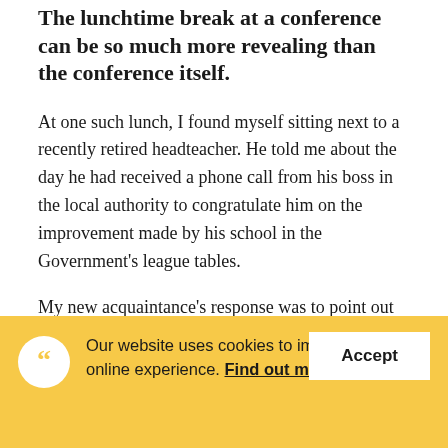The lunchtime break at a conference can be so much more revealing than the conference itself.
At one such lunch, I found myself sitting next to a recently retired headteacher. He told me about the day he had received a phone call from his boss in the local authority to congratulate him on the improvement made by his school in the Government's league tables.
My new acquaintance's response was to point out to
[Figure (other): Cookie consent banner with yellow background, quotation mark icon in white circle, text reading 'Our website uses cookies to improve your online experience. Find out more' and an Accept button.]